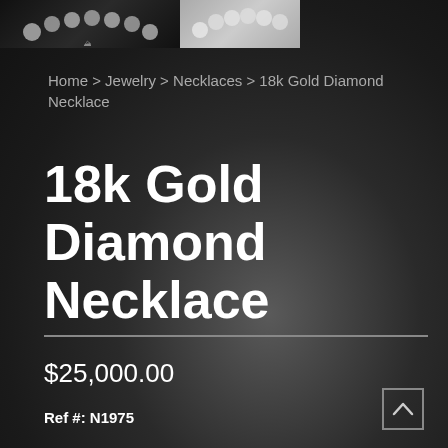[Figure (photo): Thumbnail images of necklaces at top of page - one dark background with necklace, one light background with necklace]
Home > Jewelry > Necklaces > 18k Gold Diamond Necklace
18k Gold Diamond Necklace
$25,000.00
Ref #: N1975